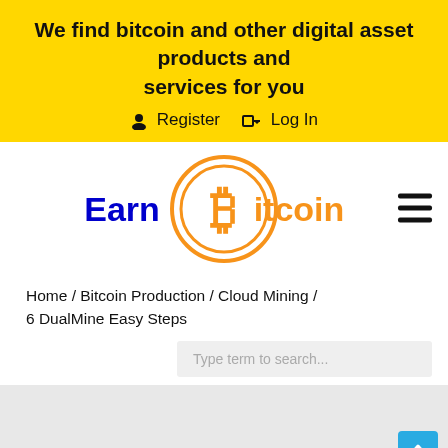We find bitcoin and other digital asset products and services for you
Register   Log In
[Figure (logo): EarnBitcoin logo with orange bitcoin coin symbol and blue/orange text]
Home / Bitcoin Production / Cloud Mining / 6 DualMine Easy Steps
Type term to search...